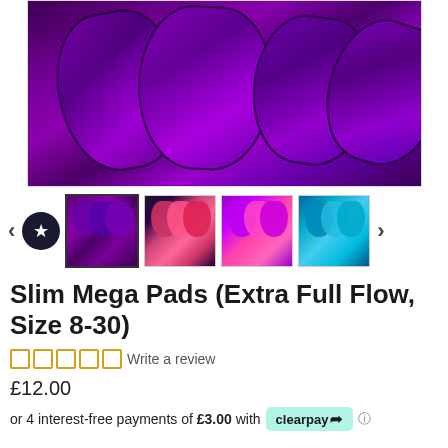[Figure (photo): Purple tie-dye fabric pads laid out on a grey carpet surface, showing multiple overlapping pad shapes in deep purple and magenta hues]
[Figure (photo): Thumbnail gallery showing four product image thumbnails: purple tie-dye pads (selected), black and pink pads, purple and pink pads, blue and teal pads]
Slim Mega Pads (Extra Full Flow, Size 8-30)
Write a review
£12.00
or 4 interest-free payments of £3.00 with clearpay